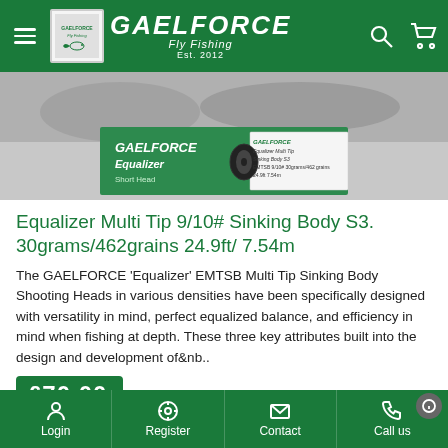GAELFORCE Fly Fishing Est. 2012
[Figure (photo): Product packaging photo: GAELFORCE Equalizer Short Head fly fishing line box, green and white box with product label showing sinking body specifications]
Equalizer Multi Tip 9/10# Sinking Body S3. 30grams/462grains 24.9ft/ 7.54m
The GAELFORCE 'Equalizer' EMTSB Multi Tip Sinking Body Shooting Heads in various densities have been specifically designed with versatility in mind, perfect equalized balance, and efficiency in mind when fishing at depth. These three key attributes built into the design and development of&nb..
£70.00
Login  Register  Contact  Call us